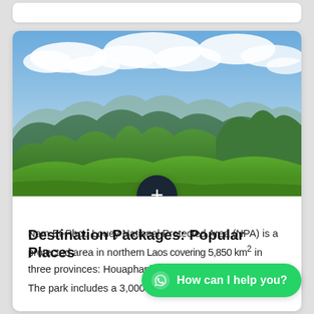[Figure (photo): Panoramic landscape photo of green forested mountains under a partly cloudy blue sky, with rolling hills extending to the distance.]
Destination Packages: Popular Places
Nam Et-Phou Louey National Protected Area (NPA) is a protected area in northe... covering 5,850 km2 in three provinces: Houap... Khouang. The park includes a 3,000 km2 core area where